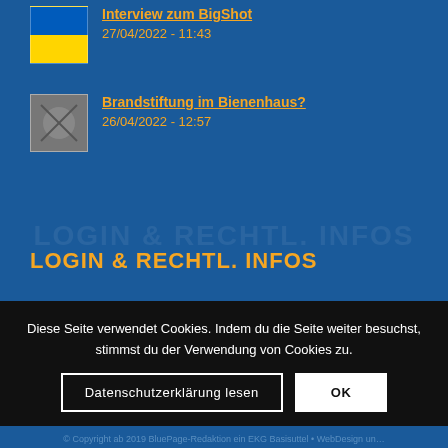Interview zum BigShot
27/04/2022 - 11:43
Brandstiftung im Bienenhaus?
26/04/2022 - 12:57
LOGIN & RECHTL. INFOS
Login
Impressum
Datenschutzerklärung
Diese Seite verwendet Cookies. Indem du die Seite weiter besuchst, stimmst du der Verwendung von Cookies zu.
Datenschutzerklärung lesen
OK
© Copyright ab 2019 BluePage-Redaktion ein EKG Basisuttel • WebDesign un...